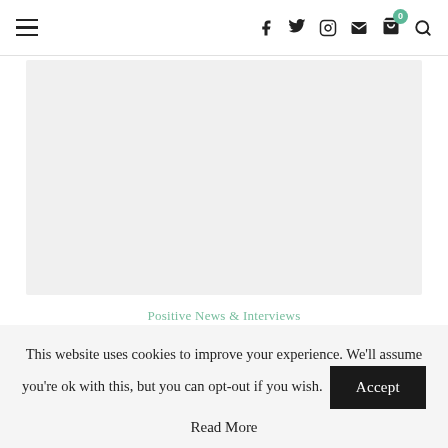Navigation bar with hamburger menu, social icons (f, twitter, instagram, mail, cart with badge 0, search)
[Figure (photo): Large light gray image placeholder rectangle]
Positive News & Interviews
FRESH WAY TO MAKE A CRUST
This website uses cookies to improve your experience. We'll assume you're ok with this, but you can opt-out if you wish.
Read More